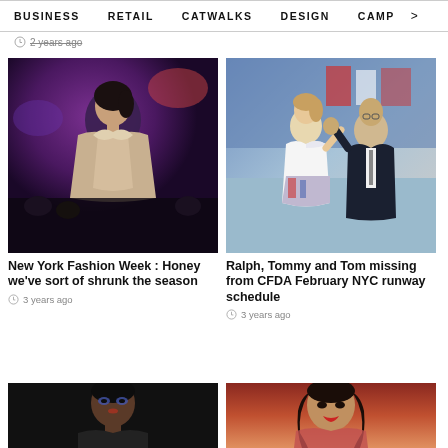BUSINESS   RETAIL   CATWALKS   DESIGN   CAMP >
2 years ago
[Figure (photo): Fashion model on runway wearing champagne/gold satin top with dramatic collar, dark background with purple lighting]
New York Fashion Week : Honey we've sort of shrunk the season
3 years ago
[Figure (photo): Two people walking on runway at fashion show - woman in white one-shoulder dress with printed skirt, man in dark suit waving, sports-themed background]
Ralph, Tommy and Tom missing from CFDA February NYC runway schedule
3 years ago
[Figure (photo): Fashion model with short natural hair, dramatic eye makeup, against dark background]
[Figure (photo): Woman with long dark hair, red lipstick, against warm-toned background at event]